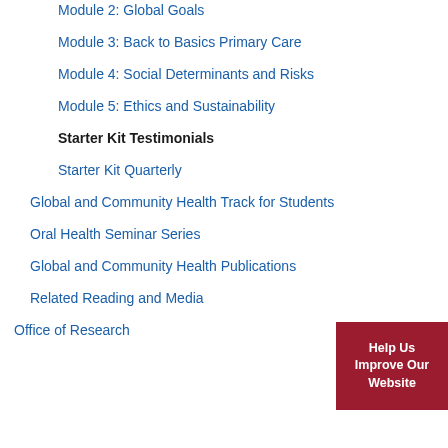Module 2: Global Goals
Module 3: Back to Basics Primary Care
Module 4: Social Determinants and Risks
Module 5: Ethics and Sustainability
Starter Kit Testimonials
Starter Kit Quarterly
Global and Community Health Track for Students
Oral Health Seminar Series
Global and Community Health Publications
Related Reading and Media
Office of Research
Help Us Improve Our Website